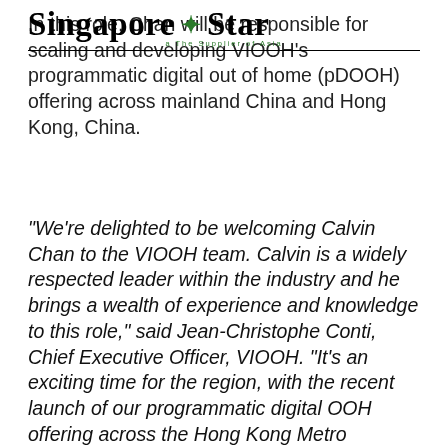Singapore Star — The Supplier of Asia
In this role, Chan will be responsible for scaling and developing VIOOH's programmatic digital out of home (pDOOH) offering across mainland China and Hong Kong, China.
"We're delighted to be welcoming Calvin Chan to the VIOOH team. Calvin is a widely respected leader within the industry and he brings a wealth of experience and knowledge to this role," said Jean-Christophe Conti, Chief Executive Officer, VIOOH. "It's an exciting time for the region, with the recent launch of our programmatic digital OOH offering across the Hong Kong Metro network, and further expansion set for mainland China," added Conti.
Chan is an innovative and widely respected digital industry expert in China, with nearly 20 years of experience in the digital and marketing technology industry. Prior to joining VIOOH, Chan served as The